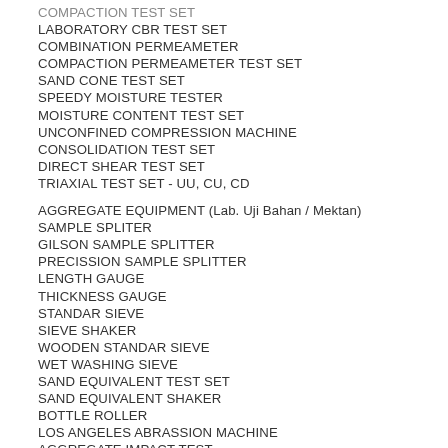COMPACTION TEST SET (partial/cut off at top)
LABORATORY CBR TEST SET
COMBINATION PERMEAMETER
COMPACTION PERMEAMETER TEST SET
SAND CONE TEST SET
SPEEDY MOISTURE TESTER
MOISTURE CONTENT TEST SET
UNCONFINED COMPRESSION MACHINE
CONSOLIDATION TEST SET
DIRECT SHEAR TEST SET
TRIAXIAL TEST SET - UU, CU, CD
AGGREGATE EQUIPMENT (Lab. Uji Bahan / Mektan)
SAMPLE SPLITER
GILSON SAMPLE SPLITTER
PRECISSION SAMPLE SPLITTER
LENGTH GAUGE
THICKNESS GAUGE
STANDAR SIEVE
SIEVE SHAKER
WOODEN STANDAR SIEVE
WET WASHING SIEVE
SAND EQUIVALENT TEST SET
SAND EQUIVALENT SHAKER
BOTTLE ROLLER
LOS ANGELES ABRASSION MACHINE
AGGREGATE IMPACT TEST
AGGREGATE CRUSHING VALUE APPARATUS (cut off at bottom)